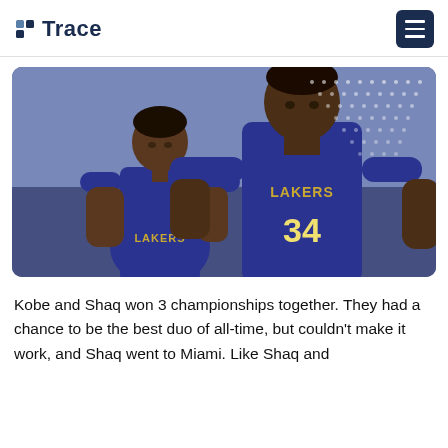Trace
[Figure (photo): Two NBA players in Los Angeles Lakers blue and gold uniforms. The shorter player on the left (Kobe Bryant) wears a Lakers jersey. The taller player on the right (Shaquille O'Neal) wears Lakers jersey number 34. Both are on a basketball court with a blurred crowd in the background. A decorative dot-pattern overlay appears on the upper right.]
Kobe and Shaq won 3 championships together. They had a chance to be the best duo of all-time, but couldn't make it work, and Shaq went to Miami. Like Shaq and